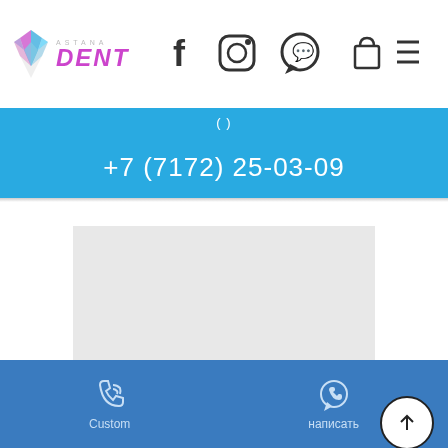[Figure (logo): Astana Dent logo with tooth icon and purple DENT text]
[Figure (infographic): Social media icons: Facebook, Instagram, WhatsApp; shopping bag icon; hamburger menu icon]
(...)
+7 (7172) 25-03-09
[Figure (map): Gray map placeholder image]
О КОМПАНИИ
CONTACTS
[Figure (infographic): Bottom navigation bar with phone (Custom) and WhatsApp (написать) icons on blue background]